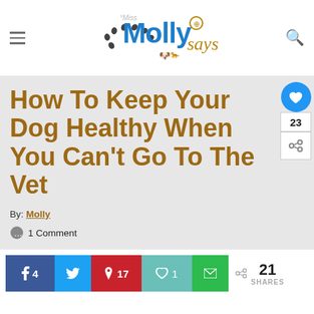Miss Molly Says
How To Keep Your Dog Healthy When You Can't Go To The Vet
By: Molly
1 Comment
f 4  [twitter]  p 17  [heart] 1  [mail]  21 SHARES